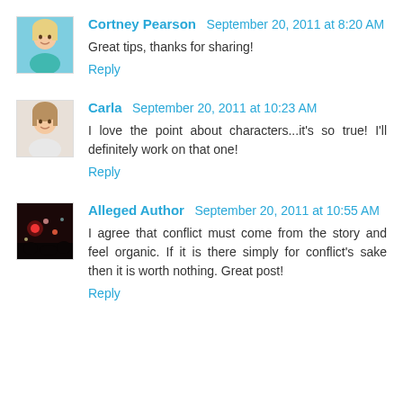[Figure (photo): Avatar photo of Cortney Pearson, a woman with blonde hair]
Cortney Pearson September 20, 2011 at 8:20 AM
Great tips, thanks for sharing!
Reply
[Figure (photo): Avatar photo of Carla, a young woman with light brown hair]
Carla September 20, 2011 at 10:23 AM
I love the point about characters...it's so true! I'll definitely work on that one!
Reply
[Figure (photo): Avatar photo of Alleged Author, dark image with lights]
Alleged Author September 20, 2011 at 10:55 AM
I agree that conflict must come from the story and feel organic. If it is there simply for conflict's sake then it is worth nothing. Great post!
Reply